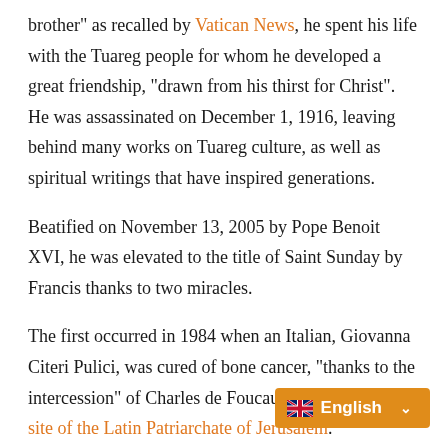brother" as recalled by Vatican News, he spent his life with the Tuareg people for whom he developed a great friendship, "drawn from his thirst for Christ". He was assassinated on December 1, 1916, leaving behind many works on Tuareg culture, as well as spiritual writings that have inspired generations.
Beatified on November 13, 2005 by Pope Benoit XVI, he was elevated to the title of Saint Sunday by Francis thanks to two miracles.
The first occurred in 1984 when an Italian, Giovanna Citeri Pulici, was cured of bone cancer, "thanks to the intercession" of Charles de Foucauld, according to the site of the Latin Patriarchate of Jerusalem.
The second miracle dates from...